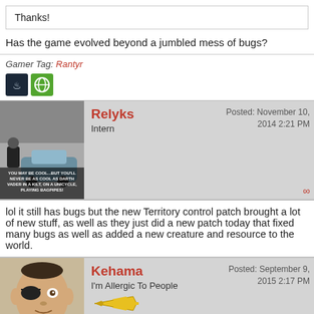Thanks!
Has the game evolved beyond a jumbled mess of bugs?
Gamer Tag: Rantyr
[Figure (screenshot): Steam and Xbox icons]
[Figure (photo): Relyks user avatar with meme text about Darth Vader on a unicycle playing bagpipes]
Relyks
Intern
Posted: November 10, 2014 2:21 PM
lol it still has bugs but the new Territory control patch brought a lot of new stuff, as well as they just did a new patch today that fixed many bugs as well as added a new creature and resource to the world.
[Figure (illustration): Kehama user avatar - illustrated character with eyepatch]
Kehama
I'm Allergic To People
Posted: September 9, 2015 2:17 PM
This is now on Steam and free to play to skill level 60. I tried it out last night for the heck of it an uninstalled it in under an hour. I like the idea but I have a hard time playing a first person game with sword combat where the sword